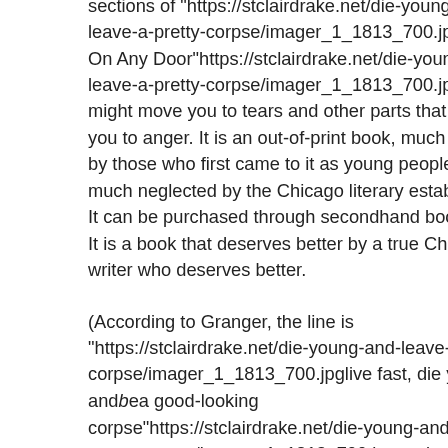sections of "https://stclairdrake.net/die-young-and-leave-a-pretty-corpse/imager_1_1813_700.jpgKnock On Any Door"https://stclairdrake.net/die-young-and-leave-a-pretty-corpse/imager_1_1813_700.jpg that might move you to tears and other parts that will move you to anger. It is an out-of-print book, much revered by those who first came to it as young people, and much neglected by the Chicago literary establishment. It can be purchased through secondhand booksellers. It is a book that deserves better by a true Chicago writer who deserves better.
(According to Granger, the line is "https://stclairdrake.net/die-young-and-leave-a-pretty-corpse/imager_1_1813_700.jpglive fast, die young, andbea good-looking corpse"https://stclairdrake.net/die-young-and-leave-a-pretty-corpse/imager_1_1813_700.jpg; cultural telephony has apparently improved the line a bit.) But Motley's never quite re-emerged from the